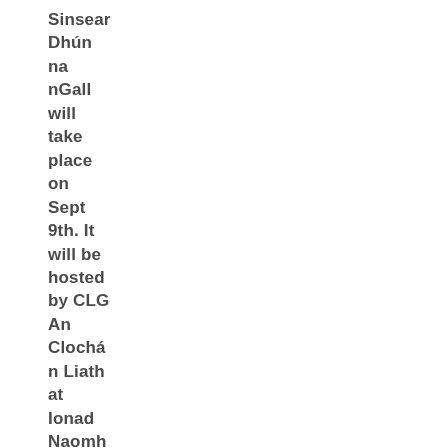Sinsear Dhún na nGall will take place on Sept 9th. It will be hosted by CLG An Clochán Liath at Ionad Naomh Columba in Burton...